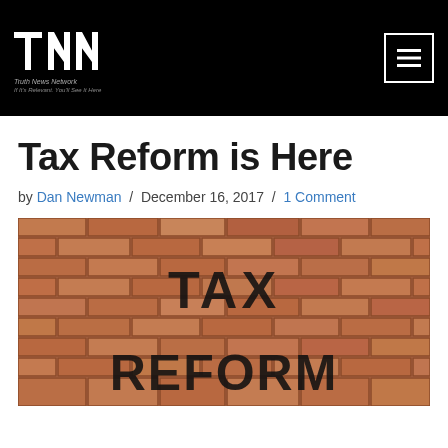Truth News Network — If It's Relevant, You'll See It Here
Tax Reform is Here
by Dan Newman / December 16, 2017 / 1 Comment
[Figure (photo): Photo of a brick wall with 'TAX REFORM' written in large graffiti letters]